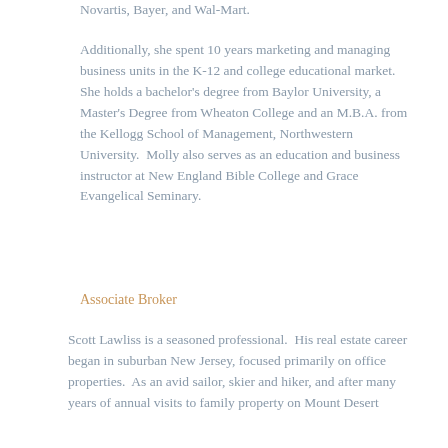Novartis, Bayer, and Wal-Mart.
Additionally, she spent 10 years marketing and managing business units in the K-12 and college educational market.  She holds a bachelor's degree from Baylor University, a Master's Degree from Wheaton College and an M.B.A. from the Kellogg School of Management, Northwestern University.  Molly also serves as an education and business instructor at New England Bible College and Grace Evangelical Seminary.
Associate Broker
Scott Lawliss is a seasoned professional.  His real estate career began in suburban New Jersey, focused primarily on office properties.  As an avid sailor, skier and hiker, and after many years of annual visits to family property on Mount Desert